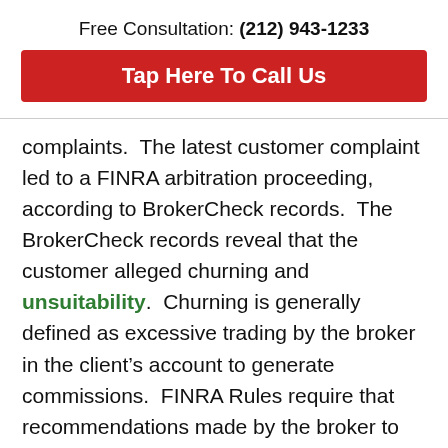Free Consultation: (212) 943-1233
Tap Here To Call Us
complaints.  The latest customer complaint led to a FINRA arbitration proceeding, according to BrokerCheck records.  The BrokerCheck records reveal that the customer alleged churning and unsuitability.  Churning is generally defined as excessive trading by the broker in the client's account to generate commissions.  FINRA Rules require that recommendations made by the broker to the customer be suitable.  This means that the broker must consider the investor's age, investment experience, age, tax status, other investments, as well as other factors when